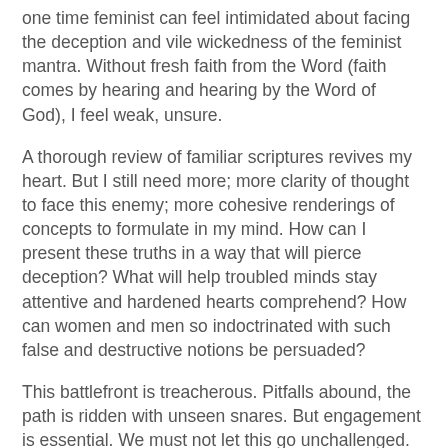one time feminist can feel intimidated about facing the deception and vile wickedness of the feminist mantra. Without fresh faith from the Word (faith comes by hearing and hearing by the Word of God), I feel weak, unsure.
A thorough review of familiar scriptures revives my heart. But I still need more; more clarity of thought to face this enemy; more cohesive renderings of concepts to formulate in my mind. How can I present these truths in a way that will pierce deception? What will help troubled minds stay attentive and hardened hearts comprehend? How can women and men so indoctrinated with such false and destructive notions be persuaded?
This battlefront is treacherous. Pitfalls abound, the path is ridden with unseen snares. But engagement is essential. We must not let this go unchallenged. A clarion call is needed. His truth must be proclaimed - boldly, quickly, and regularly. His Word is the answer. It cuts through the darkness like a laser beam (alright, alright, I admit it - my eight year old, a devout Star Wars fan, has influenced my rendition of scripture...) piercing even to the dividing asunder of soul and